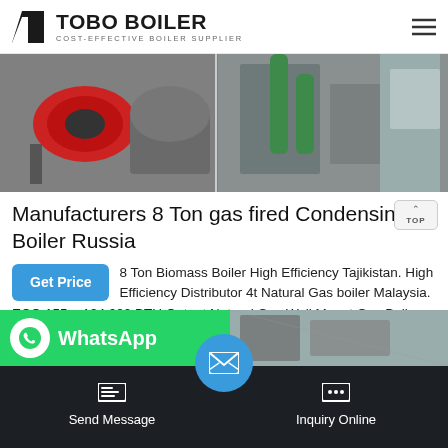TOBO BOILER — COST-EFFECTIVE BOILER SUPPLIER
[Figure (photo): Industrial boiler equipment photos: red burner unit on the left, large cylindrical boiler in center, green-piped boiler unit on the right]
Manufacturers 8 Ton gas fired Condensing Boiler Russia
8 Ton Biomass Boiler High Efficiency Tajikistan. High Efficiency Distributor 4t Natural Gas boiler Malaysia. ECO 155 – 124,000 BTU Output Natural Gas Wall Mount Gas Boiler S2 Jun 23, 2020· Gas-Fired Boilers Gas-fired boilers…
[Figure (photo): WhatsApp contact strip with green background and boiler photo on right side]
Send Message | Inquiry Online